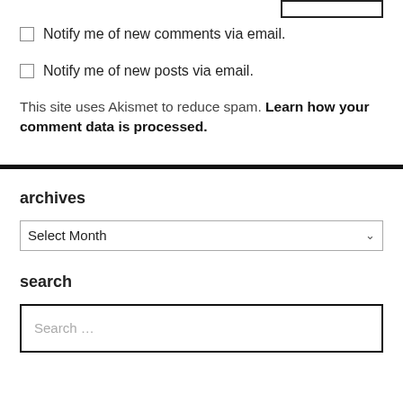Notify me of new comments via email.
Notify me of new posts via email.
This site uses Akismet to reduce spam. Learn how your comment data is processed.
archives
Select Month
search
Search …